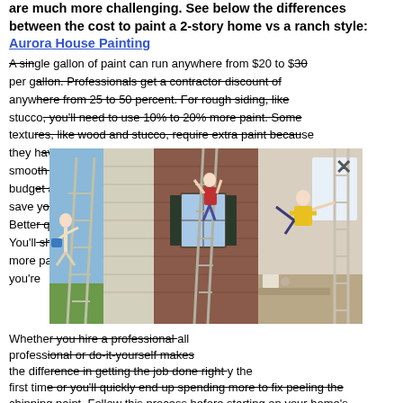are much more challenging. See below the differences between the cost to paint a 2-story home vs a ranch style: Aurora House Painting
A single gallon of paint can run anywhere from $20 to $30 per gallon. Professionals get a contractor discount of anywhere from 25 to 50 percent. For rough siding, like stucco, you'll need to use 10% to 20% more paint. Some textures, like wood and stucco, require extra paint because they have more surface to cover in a tiny area compared to smooth siding. Use the highest quality exterior paint your budget allows and save you money on quality. Better quality hours. You'll shell out more on paint you're…
[Figure (photo): Three collaged photos showing people on ladders in dangerous positions: one person hanging off a ladder on the side of a house, one person painting a two-story brick house from a ladder, and one person doing acrobatics on a ladder indoors.]
Whether you hire a professional or do-it-yourself makes all the difference in getting the job done right the first time or you'll quickly end up spending more to fix peeling the chipping paint. Follow this process before starting on your home's exterior. Keep in mind that the process may vary based on your siding materials: